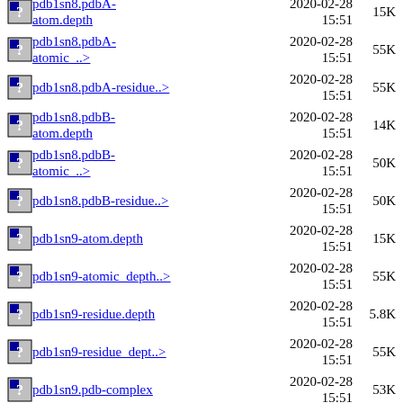pdb1sn8.pdbA-atom.depth  2020-02-28 15:51  15K
pdb1sn8.pdbA-atomic_..>  2020-02-28 15:51  55K
pdb1sn8.pdbA-residue..>  2020-02-28 15:51  55K
pdb1sn8.pdbB-atom.depth  2020-02-28 15:51  14K
pdb1sn8.pdbB-atomic_..>  2020-02-28 15:51  50K
pdb1sn8.pdbB-residue..>  2020-02-28 15:51  50K
pdb1sn9-atom.depth  2020-02-28 15:51  15K
pdb1sn9-atomic_depth..>  2020-02-28 15:51  55K
pdb1sn9-residue.depth  2020-02-28 15:51  5.8K
pdb1sn9-residue_dept..>  2020-02-28 15:51  55K
pdb1sn9.pdb-complex  2020-02-28 15:51  53K
pdb1sn9.pdb-consolidate  2020-02-28  5.7K